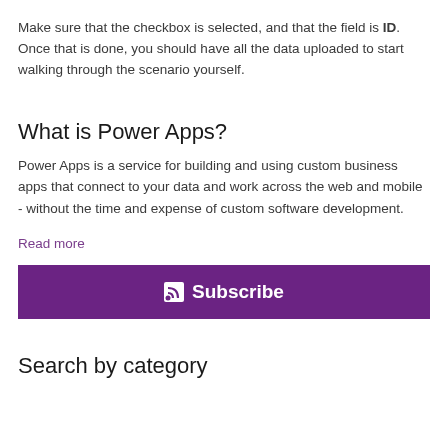Make sure that the checkbox is selected, and that the field is ID. Once that is done, you should have all the data uploaded to start walking through the scenario yourself.
What is Power Apps?
Power Apps is a service for building and using custom business apps that connect to your data and work across the web and mobile - without the time and expense of custom software development.
Read more
[Figure (other): Purple subscribe button with RSS icon and Subscribe text in white]
Search by category